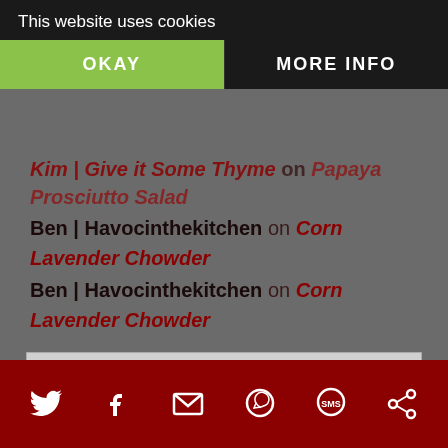This website uses cookies
Kim | Give it Some Thyme on Papaya Prosciutto Salad
Ben | Havocinthekitchen on Corn Lavender Chowder
Ben | Havocinthekitchen on Corn Lavender Chowder
| Flag | Count | Flag | Count | Flag | Count |
| --- | --- | --- | --- | --- | --- |
| US | 119,062 | AE | 985 | IL | 639 |
| CA | 27,065 | DK | 923 | SA | 609 |
| GB | 20,026 | FI | 913 | JP | 553 |
| AU | 10,266 | PL | 904 | CN | 542 |
| DE | 3,589 | TR | 887 | MX | 530 |
| IN | 2,405 | PH | 823 | MX | 520 |
| ZA | 2,394 | MY | 803 | AT | 505 |
| NL | 1,834 | RO | 766 | IT | 485 |
| RU | 1,783 | CZ | 730 | SK | 426 |
| SG | 1,774 | CH | 729 | KR | 426 |
| FR | 1,655 | GR | 704 | LT | 402 |
Twitter | Facebook | Email | WhatsApp | SMS | Other